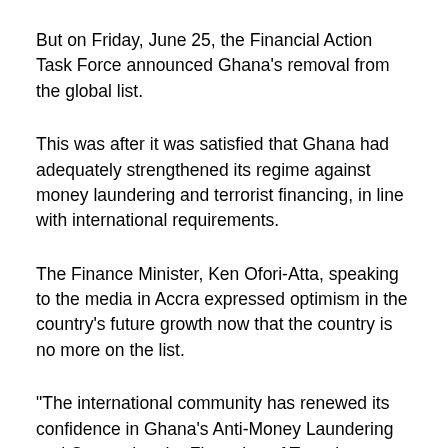But on Friday, June 25, the Financial Action Task Force announced Ghana's removal from the global list.
This was after it was satisfied that Ghana had adequately strengthened its regime against money laundering and terrorist financing, in line with international requirements.
The Finance Minister, Ken Ofori-Atta, speaking to the media in Accra expressed optimism in the country's future growth now that the country is no more on the list.
“The international community has renewed its confidence in Ghana's Anti-Money Laundering and Countering the Financing of Terrorism (AML/CFT) regime. This is great relief for the country, considering the economic consequences suffered by the country while on the list. This will boost confidence in the integrity of our financial environment and also boost foreign